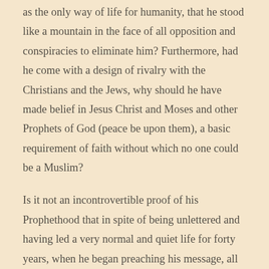as the only way of life for humanity, that he stood like a mountain in the face of all opposition and conspiracies to eliminate him? Furthermore, had he come with a design of rivalry with the Christians and the Jews, why should he have made belief in Jesus Christ and Moses and other Prophets of God (peace be upon them), a basic requirement of faith without which no one could be a Muslim?
Is it not an incontrovertible proof of his Prophethood that in spite of being unlettered and having led a very normal and quiet life for forty years, when he began preaching his message, all of Arabia stood in awe and wonder and was